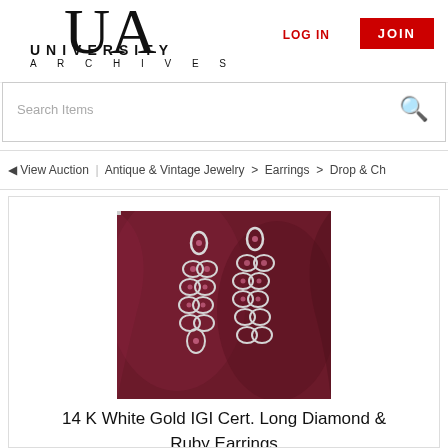[Figure (logo): UA University Archives logo with large UA lettermark and full text UNIVERSITY ARCHIVES below]
LOG IN
JOIN
Search Items
◄ View Auction  |  Antique & Vintage Jewelry  >  Earrings  >  Drop & Ch
[Figure (photo): Photo of two long white gold diamond and ruby drop chandelier earrings displayed on a dark red/magenta fabric background]
14 K White Gold IGI Cert. Long Diamond & Ruby Earrings